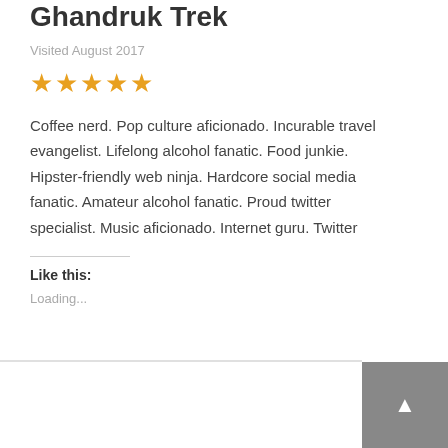Ghandruk Trek
Visited August 2017
★★★★★
Coffee nerd. Pop culture aficionado. Incurable travel evangelist. Lifelong alcohol fanatic. Food junkie. Hipster-friendly web ninja. Hardcore social media fanatic. Amateur alcohol fanatic. Proud twitter specialist. Music aficionado. Internet guru. Twitter
Like this:
Loading...